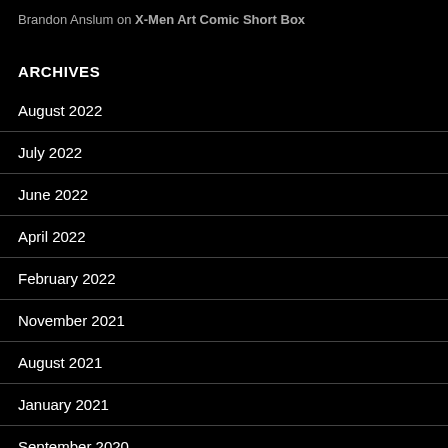Brandon Anslum on X-Men Art Comic Short Box
ARCHIVES
August 2022
July 2022
June 2022
April 2022
February 2022
November 2021
August 2021
January 2021
September 2020